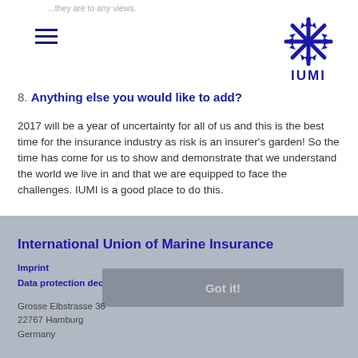...they are to any views.
8. Anything else you would like to add?
2017 will be a year of uncertainty for all of us and this is the best time for the insurance industry as risk is an insurer's garden! So the time has come for us to show and demonstrate that we understand the world we live in and that we are equipped to face the challenges. IUMI is a good place to do this.
[Figure (logo): IUMI logo - snowflake/star shape with IUMI text in dark blue]
Back ›
This website uses cookies to ensure you get the best experience on our website.
International Union of Marine Insurance
Imprint
Data protection declaration
Grosse Elbstrasse 36
22767 Hamburg
Germany
Got it!